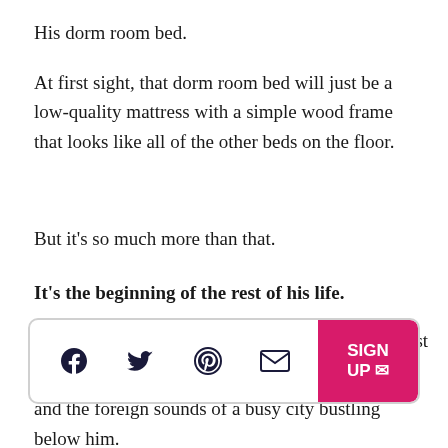His dorm room bed.
At first sight, that dorm room bed will just be a low-quality mattress with a simple wood frame that looks like all of the other beds on the floor.
But it’s so much more than that.
It’s the beginning of the rest of his life.
It’s the bed where he’ll stare at the ceiling those first [partially obscured by share bar]
[Figure (infographic): Social share bar with Facebook, Twitter, Pinterest, and email icons, plus a pink SIGN UP button with paper-plane icon on the right]
and nervous. He’ll listen to his roommate snoring and the foreign sounds of a busy city bustling below him.